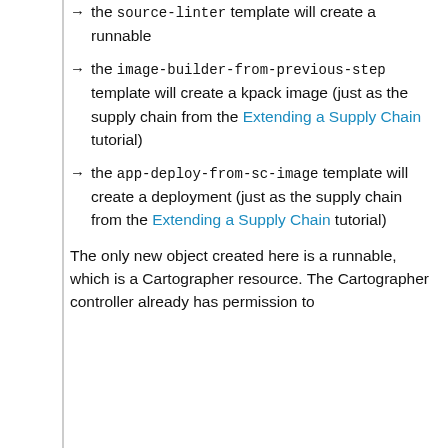the source-linter template will create a runnable
the image-builder-from-previous-step template will create a kpack image (just as the supply chain from the Extending a Supply Chain tutorial)
the app-deploy-from-sc-image template will create a deployment (just as the supply chain from the Extending a Supply Chain tutorial)
The only new object created here is a runnable, which is a Cartographer resource. The Cartographer controller already has permission to